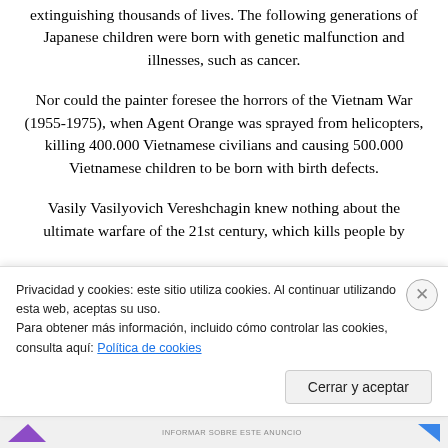extinguishing thousands of lives. The following generations of Japanese children were born with genetic malfunction and illnesses, such as cancer.
Nor could the painter foresee the horrors of the Vietnam War (1955-1975), when Agent Orange was sprayed from helicopters, killing 400.000 Vietnamese civilians and causing 500.000 Vietnamese children to be born with birth defects.
Vasily Vasilyovich Vereshchagin knew nothing about the ultimate warfare of the 21st century, which kills people by
Privacidad y cookies: este sitio utiliza cookies. Al continuar utilizando esta web, aceptas su uso.
Para obtener más información, incluido cómo controlar las cookies, consulta aquí: Política de cookies
Cerrar y aceptar
INFORMAR SOBRE ESTE ANUNCIO